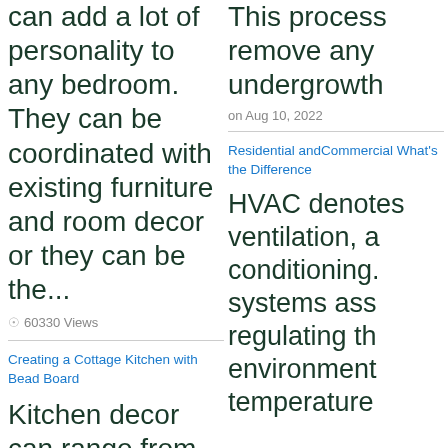can add a lot of personality to any bedroom. They can be coordinated with existing furniture and room decor or they can be the...
60330 Views
Creating a Cottage Kitchen with Bead Board
Kitchen decor can range from modern and bold to elegant and
This process remove any undergrowth
on Aug 10, 2022
Residential andCommercial What's the Difference
HVAC denotes ventilation, a conditioning. systems ass regulating th environment temperature